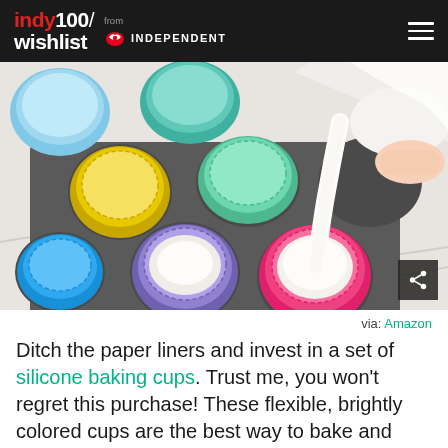indy100/wishlist from INDEPENDENT
[Figure (photo): Colorful silicone baking cups in a muffin tin, with batter being poured from a white container into a pink cup. Cups are in various colors: blue, teal, mint, yellow, green, purple, pink. Marble surface background.]
via: Amazon
Ditch the paper liners and invest in a set of silicone baking cups. Trust me, you won't regret this purchase! These flexible, brightly colored cups are the best way to bake and serve